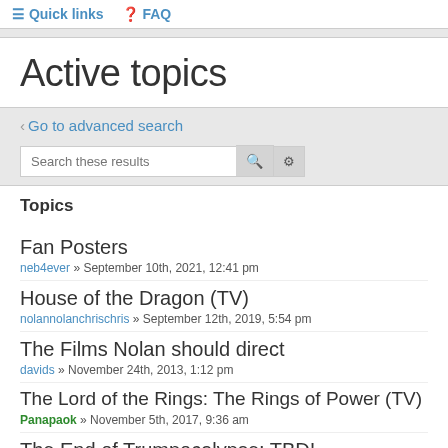≡ Quick links   ❓ FAQ
Active topics
‹ Go to advanced search
Search these results
Topics
Fan Posters
neb4ever » September 10th, 2021, 12:41 pm
House of the Dragon (TV)
nolannolanchrischris » September 12th, 2019, 5:54 pm
The Films Nolan should direct
davids » November 24th, 2013, 1:12 pm
The Lord of the Rings: The Rings of Power (TV)
Panapaok » November 5th, 2017, 9:36 am
The End of Trumpocalypse: TBD!